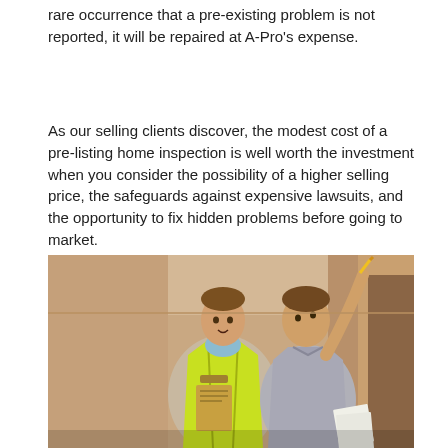rare occurrence that a pre-existing problem is not reported, it will be repaired at A-Pro's expense.
As our selling clients discover, the modest cost of a pre-listing home inspection is well worth the investment when you consider the possibility of a higher selling price, the safeguards against expensive lawsuits, and the opportunity to fix hidden problems before going to market.
[Figure (photo): Two men inside an unfinished room. The man on the left wears a yellow safety vest and holds a clipboard. The man on the right holds papers and points upward with a pencil toward the ceiling. Both appear to be inspecting the room.]